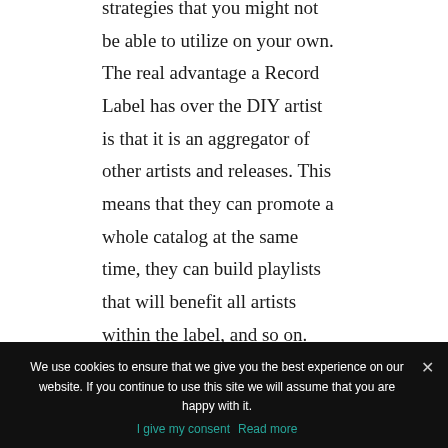strategies that you might not be able to utilize on your own. The real advantage a Record Label has over the DIY artist is that it is an aggregator of other artists and releases. This means that they can promote a whole catalog at the same time, they can build playlists that will benefit all artists within the label, and so on.
Work harder when signed than before.
We use cookies to ensure that we give you the best experience on our website. If you continue to use this site we will assume that you are happy with it.
I give my consent  Read more